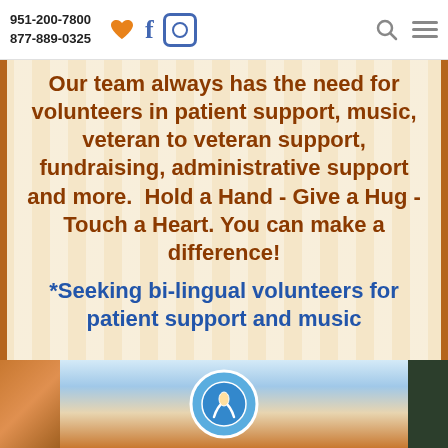951-200-7800
877-889-0325
Our team always has the need for volunteers in patient support, music, veteran to veteran support, fundraising, administrative support and more.  Hold a Hand - Give a Hug - Touch a Heart. You can make a difference!
*Seeking bi-lingual volunteers for patient support and music
[Figure (photo): Bottom photo strip showing a room interior with a hospice/organization logo (circular emblem with hands) in the center, orange/brown elements on the left, and a framed item on the right.]